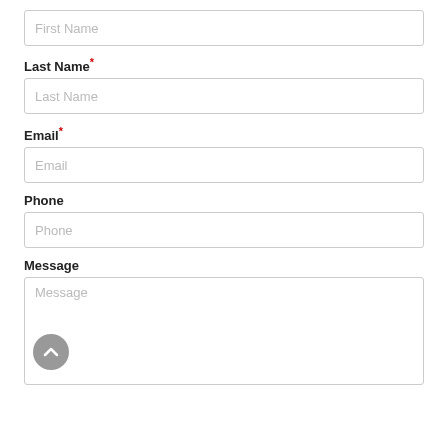First Name (placeholder)
Last Name*
Last Name (placeholder)
Email*
Email (placeholder)
Phone
Phone (placeholder)
Message
Message (placeholder)